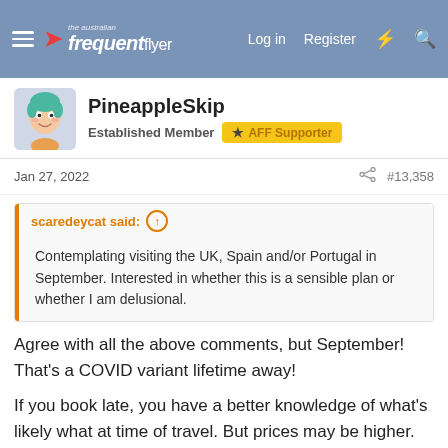The Australian Frequent Flyer — Log in  Register
[Figure (illustration): User avatar for PineappleSkip showing a cartoon character with teal hair]
PineappleSkip
Established Member  AFF Supporter
Jan 27, 2022  #13,358
scaredeycat said:
Contemplating visiting the UK, Spain and/or Portugal in September. Interested in whether this is a sensible plan or whether I am delusional.
Agree with all the above comments, but September! That's a COVID variant lifetime away!

If you book late, you have a better knowledge of what's likely what at time of travel. But prices may be higher. Then again, they may not. You have kept your money risk-free longer. Change restrictions might be less generous than now.
If you book early, who knows what's what later. You know what